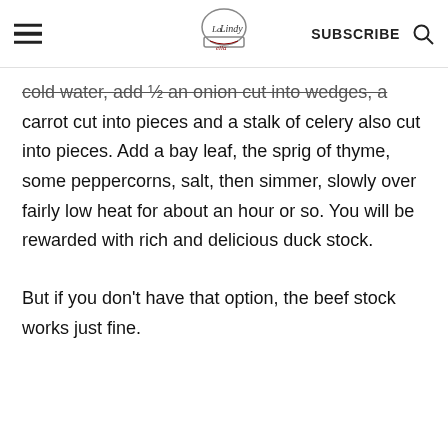La Lindy | SUBSCRIBE
cold water, add ½ an onion cut into wedges, a carrot cut into pieces and a stalk of celery also cut into pieces. Add a bay leaf, the sprig of thyme, some peppercorns, salt, then simmer, slowly over fairly low heat for about an hour or so. You will be rewarded with rich and delicious duck stock.
But if you don't have that option, the beef stock works just fine.